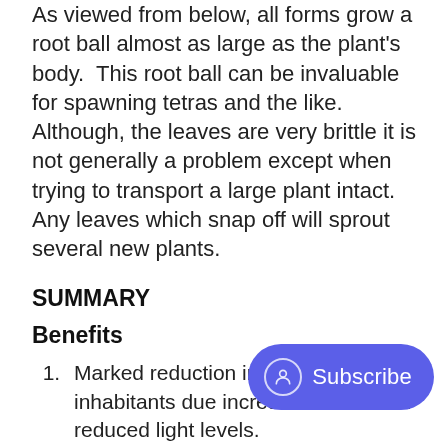As viewed from below, all forms grow a root ball almost as large as the plant's body.  This root ball can be invaluable for spawning tetras and the like.  Although, the leaves are very brittle it is not generally a problem except when trying to transport a large plant intact.  Any leaves which snap off will sprout several new plants.
SUMMARY
Benefits
Marked reduction in stress level of inhabitants due increased cover and reduced light levels.
Biological indication takes a larger picture overlaying compatible organisms and comparing their health to on-going events.